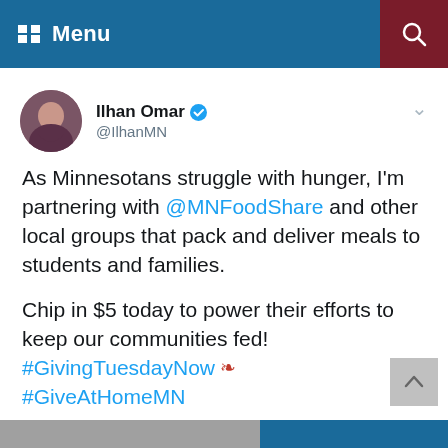Menu
[Figure (screenshot): Twitter/social media post by Ilhan Omar (@IlhanMN) with verified badge. Post reads: 'As Minnesotans struggle with hunger, I'm partnering with @MNFoodShare and other local groups that pack and deliver meals to students and families. Chip in $5 today to power their efforts to keep our communities fed! #GivingTuesdayNow [wing emoji] #GiveAtHomeMN']
[Figure (photo): Partial image strip at the bottom of the page showing a gray and blue background]